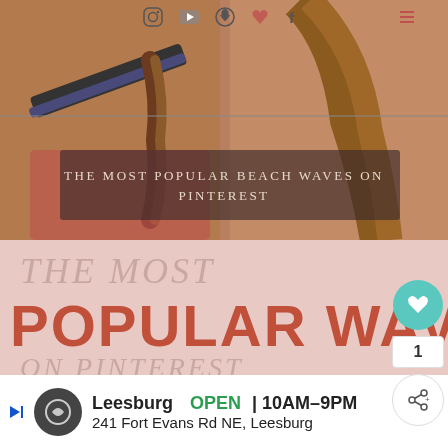[Figure (photo): Two women using a hair straightener/flat iron to create beach waves in hair. Semi-transparent dark overlay in middle with text 'THE MOST POPULAR BEACH WAVES ON PINTEREST' in white serif letters. Social media icons (Instagram, YouTube, Pinterest, favorite, Facebook) appear at top.]
THE MOST POPULAR WAVES ON PINTEREST
Leesburg OPEN 10AM–9PM 241 Fort Evans Rd NE, Leesburg